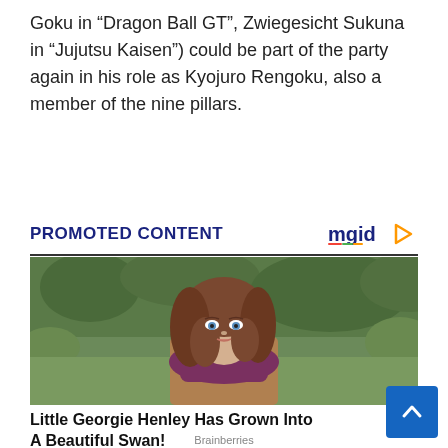Goku in “Dragon Ball GT”, Zwiegesicht Sukuna in “Jujutsu Kaisen”) could be part of the party again in his role as Kyojuro Rengoku, also a member of the nine pillars.
PROMOTED CONTENT
[Figure (photo): Portrait photo of a young woman with long brown hair, blue eyes, wearing a purple knit scarf, outdoors with greenery in background]
Little Georgie Henley Has Grown Into A Beautiful Swan!
Brainberries